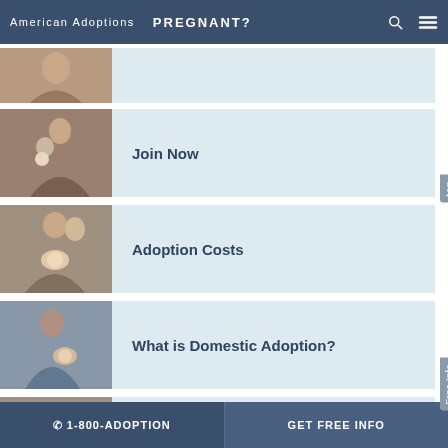American Adoptions   PREGNANT?
[Figure (photo): Partial photo of person with baby, cropped at top]
Join Now
Adoption Costs
What is Domestic Adoption?
Choosing a Professional
📞 1-800-ADOPTION   GET FREE INFO